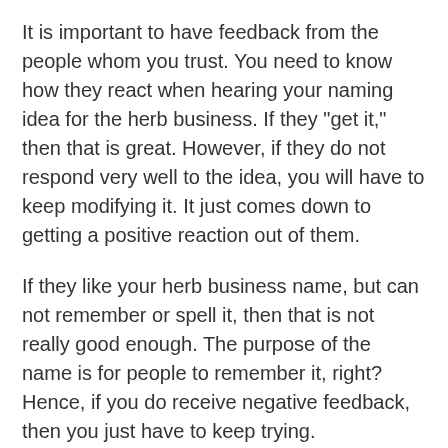It is important to have feedback from the people whom you trust. You need to know how they react when hearing your naming idea for the herb business. If they "get it," then that is great. However, if they do not respond very well to the idea, you will have to keep modifying it. It just comes down to getting a positive reaction out of them.
If they like your herb business name, but can not remember or spell it, then that is not really good enough. The purpose of the name is for people to remember it, right? Hence, if you do receive negative feedback, then you just have to keep trying.
#4) Trademark, business name, and domain availability check
To avoid any future problems, you should probably